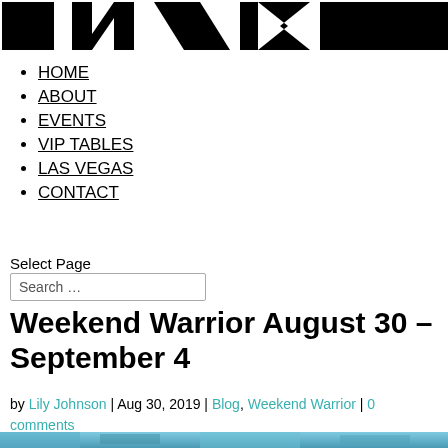[Figure (logo): Large bold black logo with geometric letterforms partially visible, cropped at top of page]
HOME
ABOUT
EVENTS
VIP TABLES
LAS VEGAS
CONTACT
Select Page
Search …
Weekend Warrior August 30 – September 4
by Lily Johnson | Aug 30, 2019 | Blog, Weekend Warrior | 0 comments
[Figure (photo): Partially visible photo at bottom of page, appears to show people at an outdoor event with blue tones]